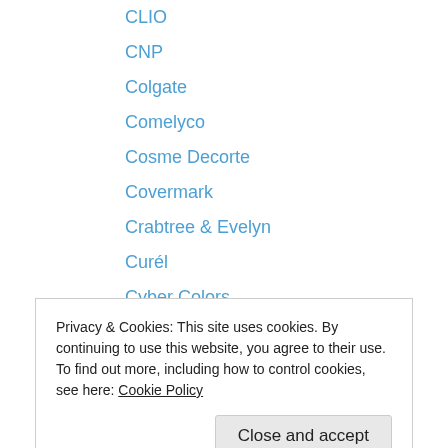CLIO
CNP
Colgate
Comelyco
Cosme Decorte
Covermark
Crabtree & Evelyn
Curél
Cyber Colors
Darlie
Decléor
Dejavu
Dermedex
Privacy & Cookies: This site uses cookies. By continuing to use this website, you agree to their use. To find out more, including how to control cookies, see here: Cookie Policy
Dr.Ci:Labo